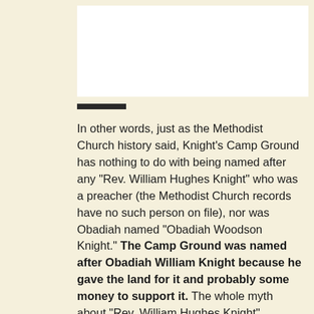[Figure (other): White rectangular image area at top of page, partially visible, with a dark horizontal bar below it]
In other words, just as the Methodist Church history said, Knight's Camp Ground has nothing to do with being named after any "Rev. William Hughes Knight" who was a preacher (the Methodist Church records have no such person on file), nor was Obadiah named "Obadiah Woodson Knight." The Camp Ground was named after Obadiah William Knight because he gave the land for it and probably some money to support it. The whole myth about "Rev. William Hughes Knight" appears to have been concocted almost out of thin air by Worth S. Ray. The way the myth has propagated, and the fact that nobody is even reading the documents they attach to their trees as evidence, is utterly demoralizing; is genealogy reduced to this? Not only has Obadiah been ripped unceremoniously from the bosom of his real family, but a mythical minister has been invented and given the credit for Obadiah's